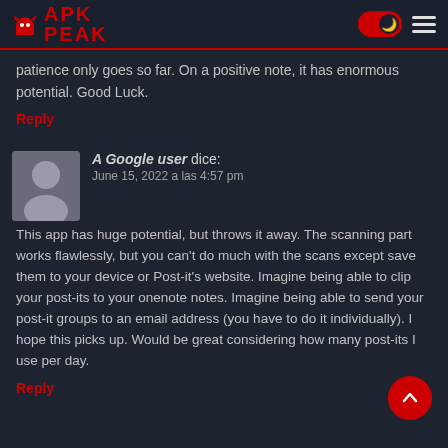APK PEAK
patience only goes so far. On a positive note, it has enormous potential. Good Luck.
Reply
A Google user dice:
June 15, 2022 a las 4:57 pm
This app has huge potential, but throws it away. The scanning part works flawlessly, but you can't do much with the scans except save them to your device or Post-it's website. Imagine being able to clip your post-its to your onenote notes. Imagine being able to send your post-it groups to an email address (you have to do it individually). I hope this picks up. Would be great considering how many post-its I use per day.
Reply